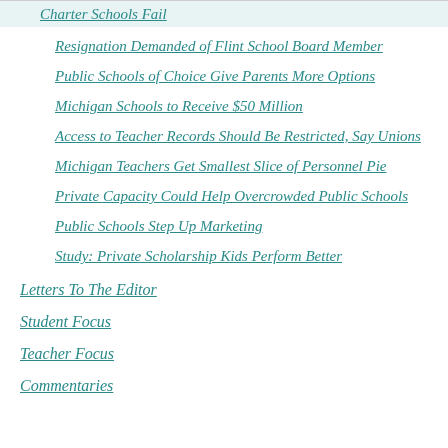Charter Schools Fail
Resignation Demanded of Flint School Board Member
Public Schools of Choice Give Parents More Options
Michigan Schools to Receive $50 Million
Access to Teacher Records Should Be Restricted, Say Unions
Michigan Teachers Get Smallest Slice of Personnel Pie
Private Capacity Could Help Overcrowded Public Schools
Public Schools Step Up Marketing
Study: Private Scholarship Kids Perform Better
Letters To The Editor
Student Focus
Teacher Focus
Commentaries